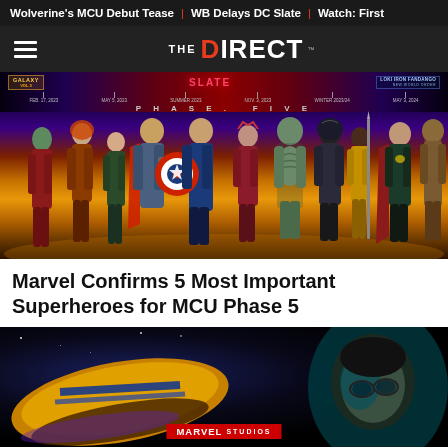Wolverine's MCU Debut Tease | WB Delays DC Slate | Watch: First
THE DIRECT
[Figure (photo): Marvel MCU Phase Five banner with superheroes lineup including Gamora, Star-Lord, Thor, Captain America, Scarlet Witch, Drax, Black Panther, and Doctor Strange]
Marvel Confirms 5 Most Important Superheroes for MCU Phase 5
[Figure (photo): Marvel Studios image showing a spacecraft/shield and a person with glasses in a dark space setting, with Marvel Studios badge at bottom]